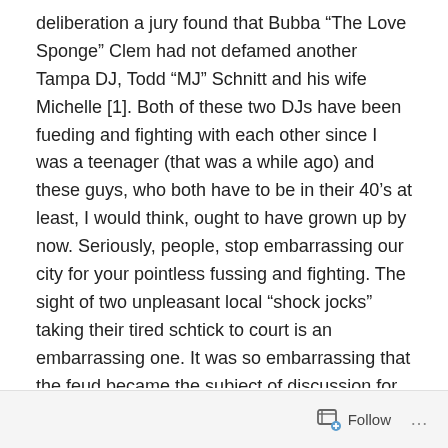deliberation a jury found that Bubba “The Love Sponge” Clem had not defamed another Tampa DJ, Todd “MJ” Schnitt and his wife Michelle [1]. Both of these two DJs have been fueding and fighting with each other since I was a teenager (that was a while ago) and these guys, who both have to be in their 40’s at least, I would think, ought to have grown up by now. Seriously, people, stop embarrassing our city for your pointless fussing and fighting. The sight of two unpleasant local “shock jocks” taking their tired schtick to court is an embarrassing one. It was so embarrassing that the feud became the subject of discussion for industry-wide radio professionals across the United States, some of whom seemed surprised that were were still “shock jocks” at all on the radio, in Central Florida no less.
Follow ...